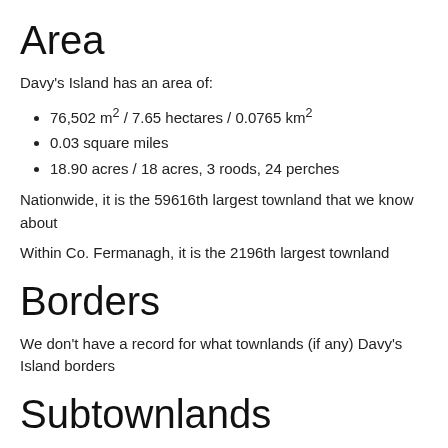Area
Davy's Island has an area of:
76,502 m² / 7.65 hectares / 0.0765 km²
0.03 square miles
18.90 acres / 18 acres, 3 roods, 24 perches
Nationwide, it is the 59616th largest townland that we know about
Within Co. Fermanagh, it is the 2196th largest townland
Borders
We don't have a record for what townlands (if any) Davy's Island borders
Subtownlands
We don't know about any subtownlands in Davy's Island.
Genealogy / Ancestry /